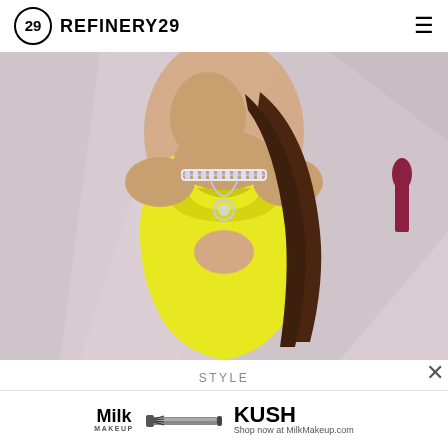REFINERY29
[Figure (photo): Woman in bright yellow strapless cut-out gown with diamond choker necklace on Oscars red carpet background with Oscar statuette visible]
STYLE
Every Winning Fashion Moment From The Live 2021 Oscars Red Carpet
[Figure (advertisement): Milk Makeup KUSH mascara advertisement with mascara tube image. Text: Milk MAKEUP, KUSH, Shop now at MilkMakeup.com]